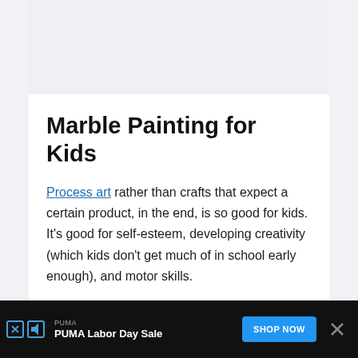[Figure (photo): Image placeholder area at the top of the article card, light gray background]
Marble Painting for Kids
Process art rather than crafts that expect a certain product, in the end, is so good for kids. It's good for self-esteem, developing creativity (which kids don't get much of in school early enough), and motor skills.
[Figure (other): Advertisement bar at the bottom: PUMA Labor Day Sale with SHOP NOW button]